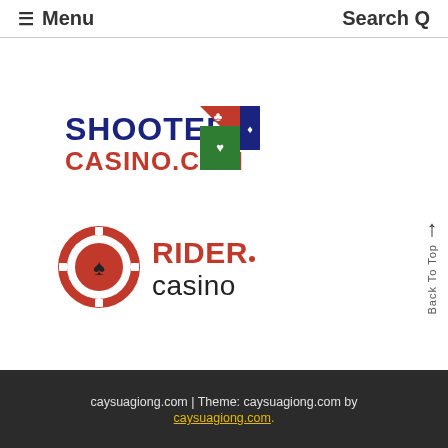≡ Menu    Search Q
[Figure (logo): Shooter Casino.com logo with colorful dice showing card suit symbols (club, diamond, heart, spade) in red, blue, and green]
[Figure (logo): Rider Casino logo with red poker chip showing spade symbol and text 'RIDER. casino']
caysuagiong.com | Theme: caysuagiong.com by caysuagiong.com.